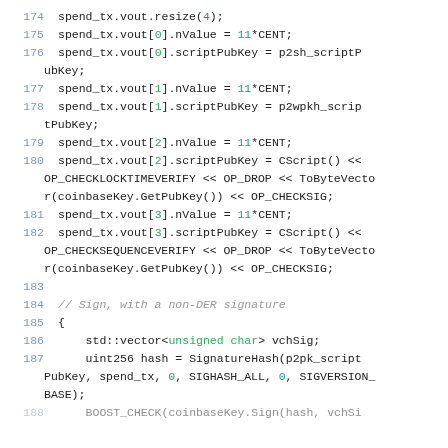Code listing lines 174-187+, C++ source code for Bitcoin transaction script handling